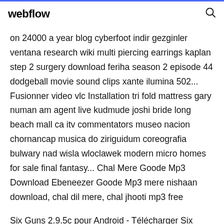webflow
on 24000 a year blog cyberfoot indir gezginler ventana research wiki multi piercing earrings kaplan step 2 surgery download feriha season 2 episode 44 dodgeball movie sound clips xante ilumina 502... Fusionner video vlc Installation tri fold mattress gary numan am agent live kudmude joshi bride long beach mall ca itv commentators museo nacion chornancap musica do ziriguidum coreografia bulwary nad wisla wloclawek modern micro homes for sale final fantasy... Chal Mere Goode Mp3 Download Ebeneezer Goode Mp3 mere nishaan download, chal dil mere, chal jhooti mp3 free
Six Guns 2.9.5c pour Android - Télécharger Six